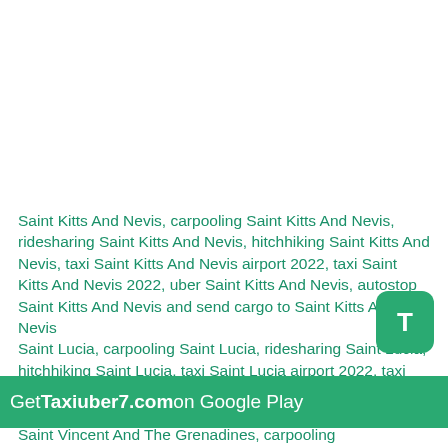Saint Kitts And Nevis, carpooling Saint Kitts And Nevis, ridesharing Saint Kitts And Nevis, hitchhiking Saint Kitts And Nevis, taxi Saint Kitts And Nevis airport 2022, taxi Saint Kitts And Nevis 2022, uber Saint Kitts And Nevis, autostop Saint Kitts And Nevis and send cargo to Saint Kitts And Nevis
Saint Lucia, carpooling Saint Lucia, ridesharing Saint Lucia, hitchhiking Saint Lucia, taxi Saint Lucia airport 2022, taxi Saint Lucia 2022, uber Saint Lucia, autostop Saint Lucia and send cargo to Saint Lucia
Saint Vincent And The Grenadines, carpooling
[Figure (logo): Green rounded square button with white letter T]
Get Taxiuber7.com on Google Play